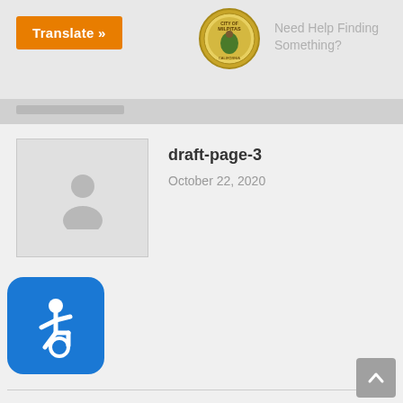Translate »  |  Need Help Finding Something?
[Figure (logo): City of Milpitas seal/emblem]
draft-page-3
October 22, 2020
[Figure (illustration): Accessibility (wheelchair) icon — white figure on blue rounded square background]
Quick Links
Report a Concern
E-Permit
Mobile App
Events Calendar